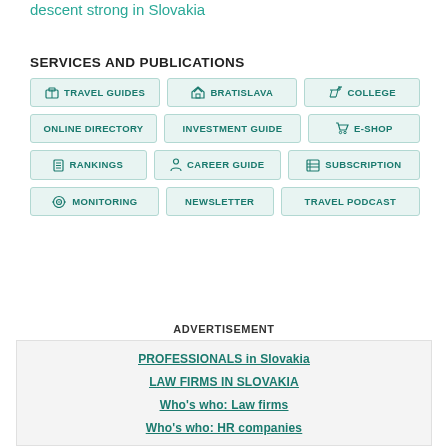descent strong in Slovakia
SERVICES AND PUBLICATIONS
TRAVEL GUIDES
BRATISLAVA
COLLEGE
ONLINE DIRECTORY
INVESTMENT GUIDE
E-SHOP
RANKINGS
CAREER GUIDE
SUBSCRIPTION
MONITORING
NEWSLETTER
TRAVEL PODCAST
ADVERTISEMENT
PROFESSIONALS in Slovakia
LAW FIRMS IN SLOVAKIA
Who's who: Law firms
Who's who: HR companies